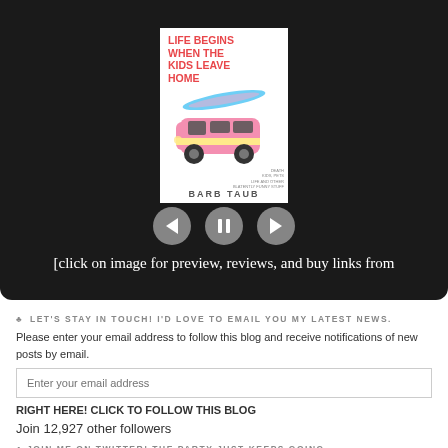[Figure (illustration): Book cover slideshow/media player widget with dark background showing a pink VW van book cover for 'Life Begins When the Kids Leave Home' by Barb Taub, with previous/pause/next controls and caption text]
[click on image for preview, reviews, and buy links from
♣ LET'S STAY IN TOUCH! I'D LOVE TO EMAIL YOU MY LATEST NEWS.
Please enter your email address to follow this blog and receive notifications of new posts by email.
Enter your email address
RIGHT HERE! CLICK TO FOLLOW THIS BLOG
Join 12,927 other followers
♣ JOIN ME ON TWITTER! THE PARTY JUST KEEPS GOING.